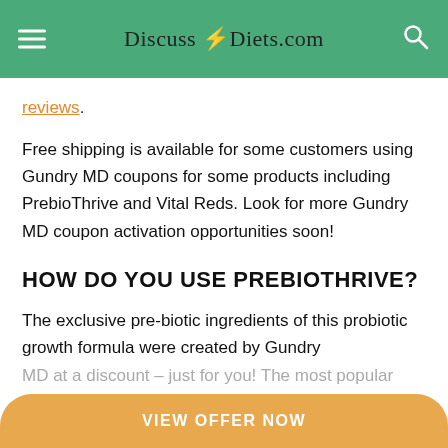Discuss Diets.com
reviews.
Free shipping is available for some customers using Gundry MD coupons for some products including PrebioThrive and Vital Reds. Look for more Gundry MD coupon activation opportunities soon!
HOW DO YOU USE PREBIOTHRIVE?
The exclusive pre-biotic ingredients of this probiotic growth formula were created by Gundry MD at a discount – just for you! The most popular way to use this Gundry MD supplement is as a
VIEW OFFER NOW